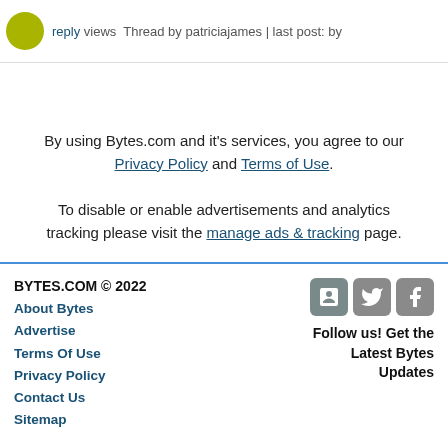reply views Thread by patriciajames | last post: by
By using Bytes.com and it's services, you agree to our Privacy Policy and Terms of Use.
To disable or enable advertisements and analytics tracking please visit the manage ads & tracking page.
BYTES.COM © 2022
About Bytes
Advertise
Terms Of Use
Privacy Policy
Contact Us
Sitemap
Follow us! Get the Latest Bytes Updates